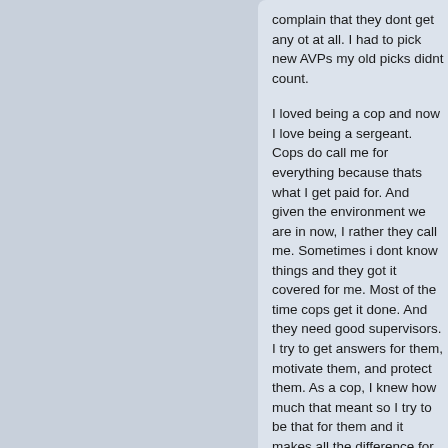complain that they dont get any ot at all. I had to pick new AVPs my old picks didnt count.

I loved being a cop and now I love being a sergeant. Cops do call me for everything because thats what I get paid for. And given the environment we are in now, I rather they call me. Sometimes i dont know things and they got it covered for me. Most of the time cops get it done. And they need good supervisors. I try to get answers for them, motivate them, and protect them. As a cop, I knew how much that meant so I try to be that for them and it makes all the difference for me.